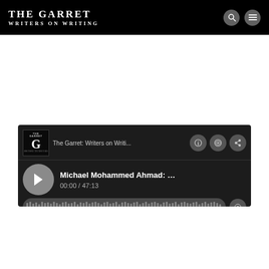THE GARRET
WRITERS ON WRITING
[Figure (screenshot): Podcast player widget for The Garret: Writers on Writing, showing episode 'Michael Mohammed Ahmad: On W...' with playback time 00:00 / 47:13 and a waveform progress bar]